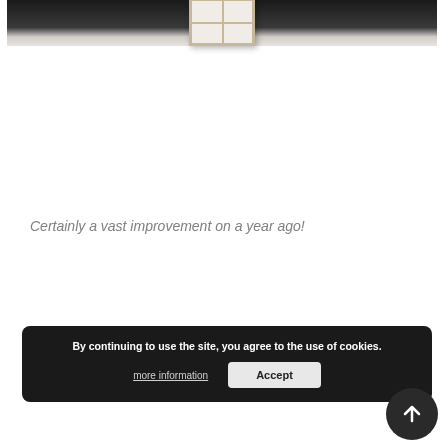[Figure (photo): Partial view of a roof window/skylight with white frame against a dark background, cropped at the top of the page]
Certainly a vast improvement on a year ago!
By continuing to use the site, you agree to the use of cookies.
more information
Accept